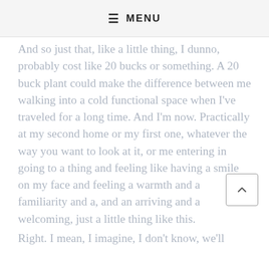≡ MENU
And so just that, like a little thing, I dunno, probably cost like 20 bucks or something. A 20 buck plant could make the difference between me walking into a cold functional space when I've traveled for a long time. And I'm now. Practically at my second home or my first one, whatever the way you want to look at it, or me entering in going to a thing and feeling like having a smile on my face and feeling a warmth and a familiarity and a, and an arriving and a welcoming, just a little thing like this.
Right. I mean, I imagine, I don't know, we'll